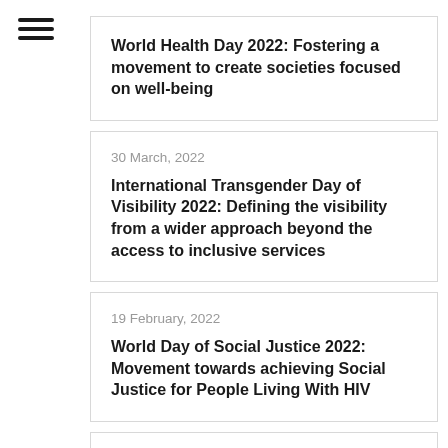[Figure (other): Hamburger menu icon (three horizontal lines)]
World Health Day 2022: Fostering a movement to create societies focused on well-being
30 March, 2022
International Transgender Day of Visibility 2022: Defining the visibility from a wider approach beyond the access to inclusive services
19 February, 2022
World Day of Social Justice 2022: Movement towards achieving Social Justice for People Living With HIV
11 January, 2022